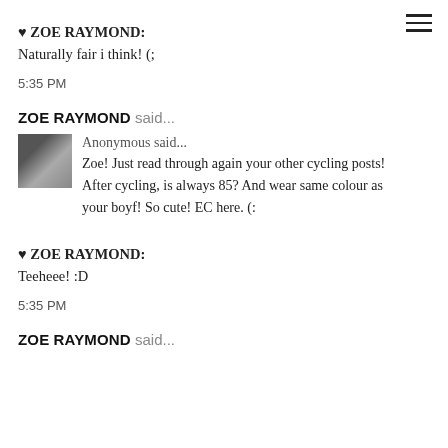♥ ZOE RAYMOND:
Naturally fair i think! (;
5:35 PM
ZOE RAYMOND said...
[Figure (photo): Small avatar photo of a person, dark tones]
Anonymous said...
Zoe! Just read through again your other cycling posts! After cycling, is always 85? And wear same colour as your boyf! So cute! EC here. (:
♥ ZOE RAYMOND:
Teeheee! :D
5:35 PM
ZOE RAYMOND said...